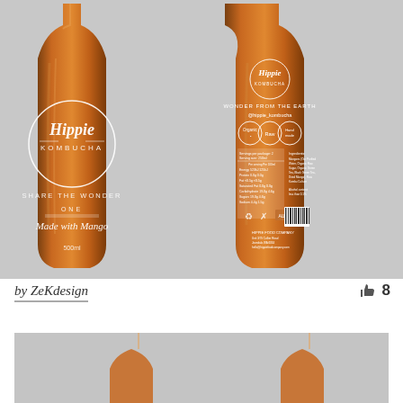[Figure (photo): Two Hippie Kombucha bottles (front and back) in amber/orange color against a gray background. Left bottle shows the front label with 'Hippie KOMBUCHA', 'SHARE THE WONDER', 'ONE', 'Made with Mango', '500ml'. Right bottle shows back label with nutrition information, ingredients, and company details.]
by ZeKdesign
8
[Figure (photo): Partial view of another design submission, showing top portion of bottles on gray background.]